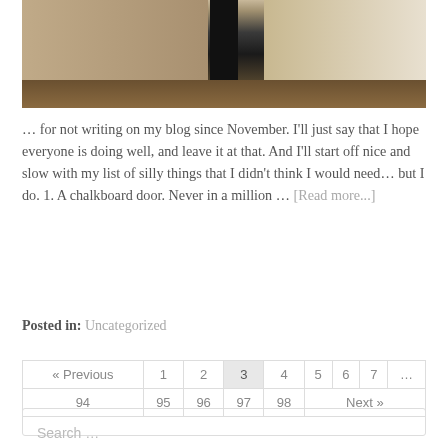[Figure (photo): A photograph showing a hallway or corridor with a dark open doorway in the center, yellowish walls on either side, and a wooden floor visible at the bottom.]
… for not writing on my blog since November. I'll just say that I hope everyone is doing well, and leave it at that. And I'll start off nice and slow with my list of silly things that I didn't think I would need… but I do. 1. A chalkboard door. Never in a million … [Read more...]
Posted in: Uncategorized
« Previous  1  2  3  4  5  6  7  ...  94  95  96  97  98  Next »